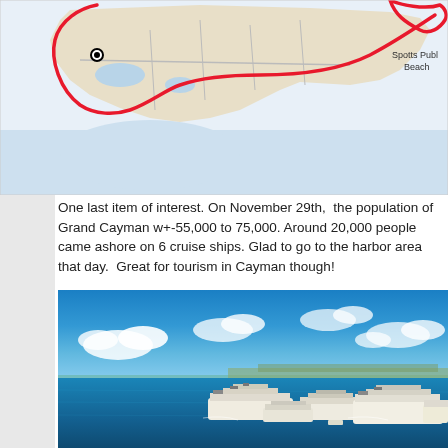[Figure (map): Partial view of a Google Maps style map showing Grand Cayman island with a red route/boundary line drawn on it. A black dot marker is visible on the left side. 'Spotts Public Beach' label is visible on the right. The map shows roads, coastline, and blue water areas.]
One last item of interest. On November 29th,  the population of Grand Cayman w+-55,000 to 75,000. Around 20,000 people came ashore on 6 cruise ships. Glad to go to the harbor area that day.  Great for tourism in Cayman though!
[Figure (photo): Aerial photograph of Grand Cayman harbor with 6 large cruise ships anchored offshore. Blue sky with scattered white clouds above. The coastline and town are visible in the background. Multiple large white cruise ships are visible in the turquoise/blue water.]